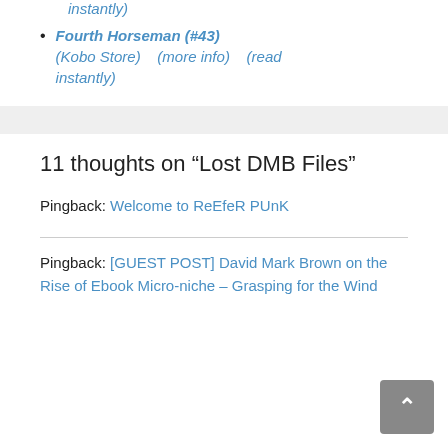instantly)
Fourth Horseman (#43) (Kobo Store) (more info) (read instantly)
11 thoughts on “Lost DMB Files”
Pingback: Welcome to ReEfeR PUnK
Pingback: [GUEST POST] David Mark Brown on the Rise of Ebook Micro-niche – Grasping for the Wind